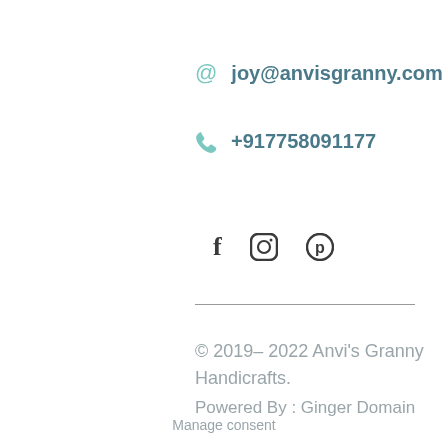@ joy@anvisgranny.com
☎ +917758091177
[Figure (other): Social media icons: Facebook (f), Instagram (circle), Pinterest (circle with P)]
© 2019– 2022 Anvi's Granny Handicrafts.
Powered By : Ginger Domain
Manage consent